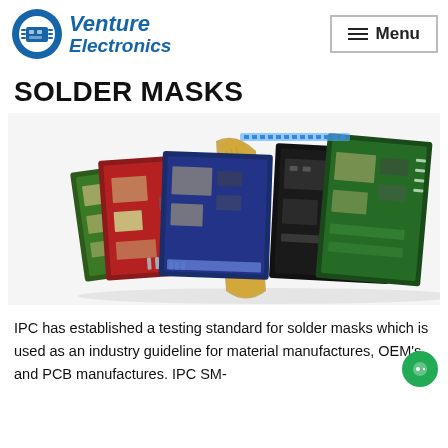[Figure (logo): Venture Electronics logo: blue circular icon with circuit board graphic, blue italic bold text reading Venture Electronics]
[Figure (photo): Multiple PCBs with different colored solder masks (red, green, blue, black) fanned out, with a flexible circuit board in the middle]
SOLDER MASKS
IPC has established a testing standard for solder masks which is used as an industry guideline for material manufactures, OEM's and PCB manufactures. IPC SM-